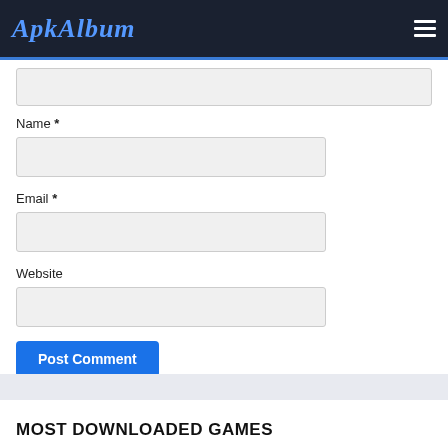ApkAlbum
Name *
Email *
Website
Post Comment
MOST DOWNLOADED GAMES